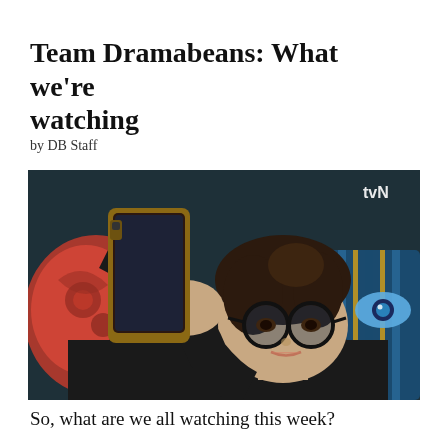Team Dramabeans: What we're watching
by DB Staff
[Figure (photo): A young woman wearing round black glasses lies down looking at her smartphone held up in her hand. She appears to be in a dark room with decorative pillows. A tvN watermark is visible in the top right corner of the image.]
So, what are we all watching this week?